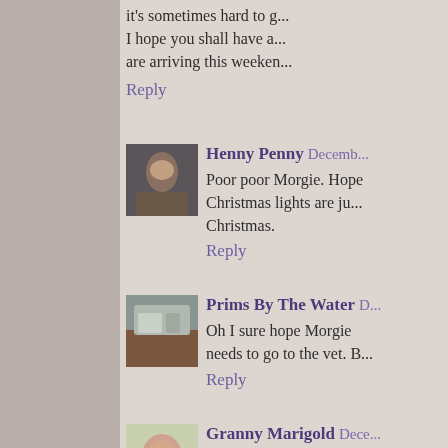it's sometimes hard to g... I hope you shall have a... are arriving this weeken...
Reply
[Figure (photo): Avatar photo of Henny Penny commenter]
Henny Penny December...
Poor poor Morgie. Hope Christmas lights are ju... Christmas.
Reply
[Figure (photo): Avatar photo of Prims By The Water commenter]
Prims By The Water D...
Oh I sure hope Morgie needs to go to the vet. B...
Reply
[Figure (photo): Avatar photo of Granny Marigold commenter]
Granny Marigold Dece...
Valentine stuff out alr... noticed in various shor...